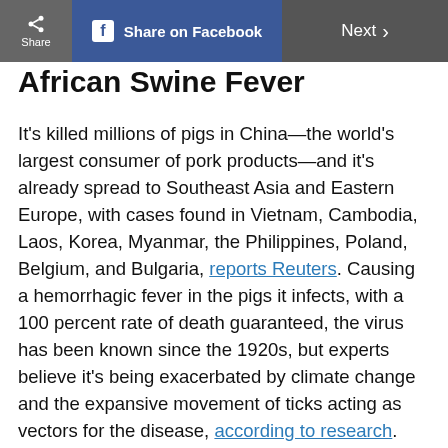Share | Share on Facebook | Next
African Swine Fever
It's killed millions of pigs in China—the world's largest consumer of pork products—and it's already spread to Southeast Asia and Eastern Europe, with cases found in Vietnam, Cambodia, Laos, Korea, Myanmar, the Philippines, Poland, Belgium, and Bulgaria, reports Reuters. Causing a hemorrhagic fever in the pigs it infects, with a 100 percent rate of death guaranteed, the virus has been known since the 1920s, but experts believe it's being exacerbated by climate change and the expansive movement of ticks acting as vectors for the disease, according to research.